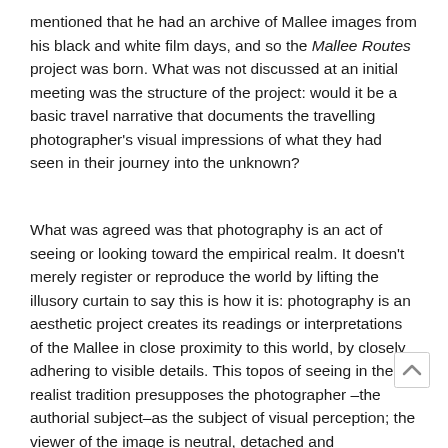mentioned that he had an archive of Mallee images from his black and white film days, and so the Mallee Routes project was born. What was not discussed at an initial meeting was the structure of the project: would it be a basic travel narrative that documents the travelling photographer's visual impressions of what they had seen in their journey into the unknown?
What was agreed was that photography is an act of seeing or looking toward the empirical realm. It doesn't merely register or reproduce the world by lifting the illusory curtain to say this is how it is: photography is an aesthetic project creates its readings or interpretations of the Mallee in close proximity to this world, by closely adhering to visible details. This topos of seeing in the realist tradition presupposes the photographer –the authorial subject–as the subject of visual perception; the viewer of the image is neutral, detached and contemplative; and a world of objects that can be 'seen'.